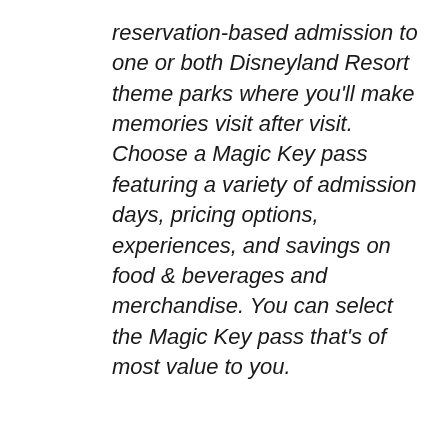reservation-based admission to one or both Disneyland Resort theme parks where you'll make memories visit after visit. Choose a Magic Key pass featuring a variety of admission days, pricing options, experiences, and savings on food & beverages and merchandise. You can select the Magic Key pass that's of most value to you.